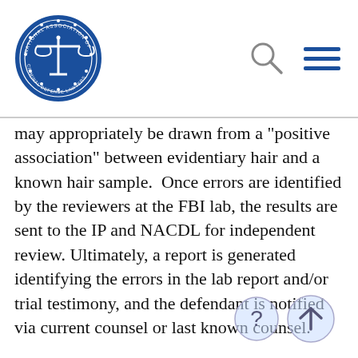National Association of Criminal Defense Lawyers logo, search icon, menu icon
may appropriately be drawn from a "positive association" between evidentiary hair and a known hair sample.  Once errors are identified by the reviewers at the FBI lab, the results are sent to the IP and NACDL for independent review. Ultimately, a report is generated identifying the errors in the lab report and/or trial testimony, and the defendant is notified via current counsel or last known counsel.
Due to the nature of post-conviction review, the majority of the affected defendants no longer have an attorney and most are not entitled to an attorney at the government's expense. Thus, NACDL has committed to finding counsel, on a pro